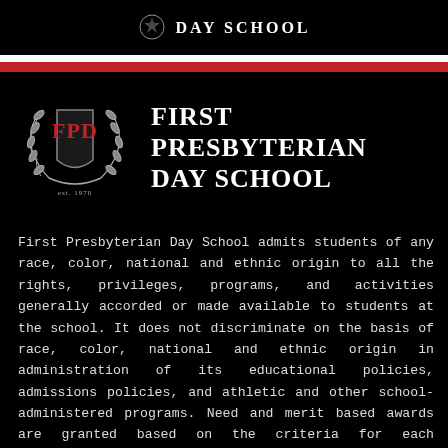DAY SCHOOL
[Figure (logo): First Presbyterian Day School logo with FPD crest inside laurel wreath and school name]
First Presbyterian Day School admits students of any race, color, national and ethnic origin to all the rights, privileges, programs, and activities generally accorded or made available to students at the school. It does not discriminate on the basis of race, color, national and ethnic origin in administration of its educational policies, admissions policies, and athletic and other school-administered programs. Need and merit based awards are granted based on the criteria for each individual award.